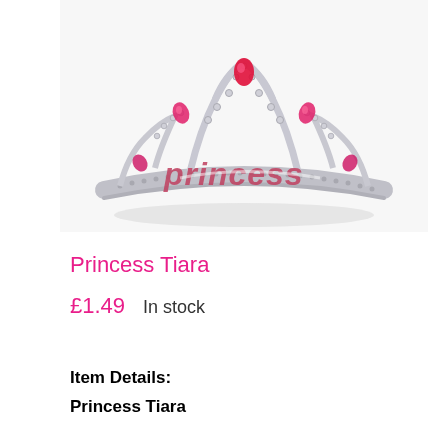[Figure (photo): A silver princess tiara with pink gemstones and the word 'Princess' written in pink glittery letters across the front band, photographed on a white background.]
Princess Tiara
£1.49  In stock
Item Details:
Princess Tiara